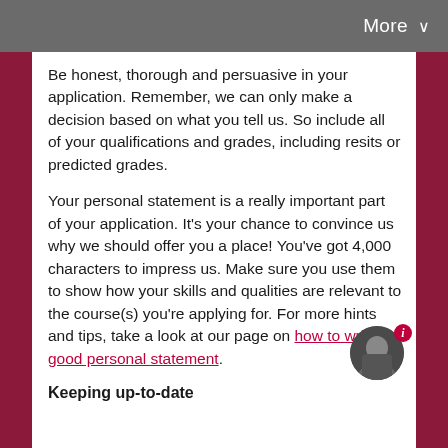More ∨
Be honest, thorough and persuasive in your application. Remember, we can only make a decision based on what you tell us. So include all of your qualifications and grades, including resits or predicted grades.
Your personal statement is a really important part of your application. It's your chance to convince us why we should offer you a place! You've got 4,000 characters to impress us. Make sure you use them to show how your skills and qualities are relevant to the course(s) you're applying for. For more hints and tips, take a look at our page on how to write a good personal statement.
[Figure (photo): Circular avatar photo of a person, with a red badge indicator in the top right]
Keeping up-to-date